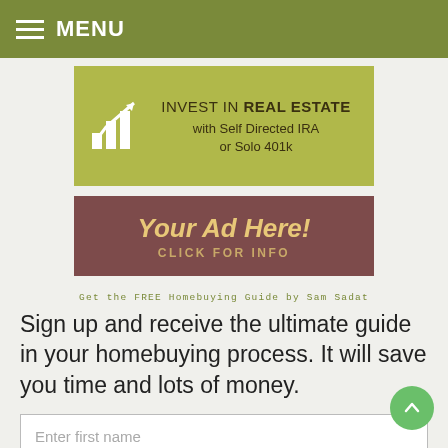MENU
[Figure (infographic): Banner ad: INVEST IN REAL ESTATE with Self Directed IRA or Solo 401k, with bar chart growth icon]
[Figure (infographic): Ad banner: Your Ad Here! CLICK FOR INFO, maroon background with gold italic text]
Get the FREE Homebuying Guide by Sam Sadat
Sign up and receive the ultimate guide in your homebuying process. It will save you time and lots of money.
Enter first name
Enter last name